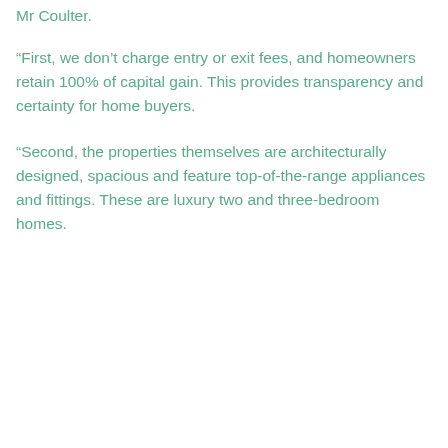Mr Coulter.
“First, we don’t charge entry or exit fees, and homeowners retain 100% of capital gain. This provides transparency and certainty for home buyers.
“Second, the properties themselves are architecturally designed, spacious and feature top-of-the-range appliances and fittings. These are luxury two and three-bedroom homes.